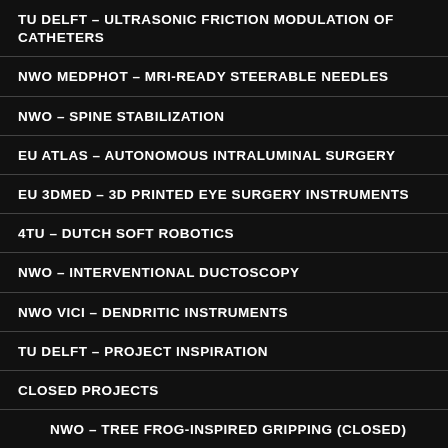TU DELFT – ULTRASONIC FRICTION MODULATION OF CATHETERS
NWO MEDPHOT – MRI-READY STEERABLE NEEDLES
NWO – SPINE STABILIZATION
EU ATLAS – AUTONOMOUS INTRALUMINAL SURGERY
EU 3DMED – 3D PRINTED EYE SURGERY INSTRUMENTS
4TU – DUTCH SOFT ROBOTICS
NWO – INTERVENTIONAL DUCTOSCOPY
NWO VICI – DENDRITIC INSTRUMENTS
TU DELFT – PROJECT INSPIRATION
CLOSED PROJECTS
NWO – TREE FROG-INSPIRED GRIPPING (CLOSED)
TU DELFT – ACCESSIBLE PROSTHETICS (CLOSED)
NWO – STEERABLE CATHETER (CLOSED)